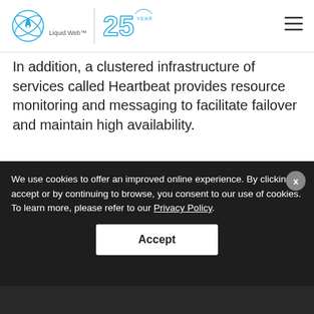Liquid Web 25 Years
In addition, a clustered infrastructure of services called Heartbeat provides resource monitoring and messaging to facilitate failover and maintain high availability.
[Figure (engineering-diagram): HA KVM Config diagram showing Virtual IP arrow pointing down to a cloud icon]
We use cookies to offer an improved online experience. By clicking accept or by continuing to browse, you consent to our use of cookies. To learn more, please refer to our Privacy Policy.
Accept